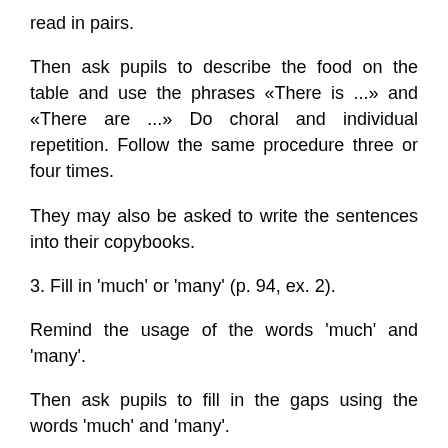read in pairs.
Then ask pupils to describe the food on the table and use the phrases «There is ...» and «There are ...» Do choral and individual repetition. Follow the same procedure three or four times.
They may also be asked to write the sentences into their copybooks.
3. Fill in 'much' or 'many' (p. 94, ex. 2).
Remind the usage of the words 'much' and 'many'.
Then ask pupils to fill in the gaps using the words 'much' and 'many'.